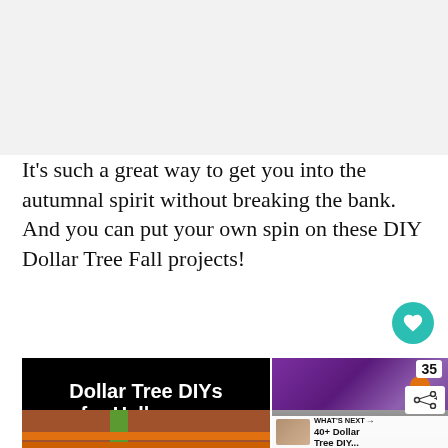It's such a great way to get you into the autumnal spirit without breaking the bank. And you can put your own spin on these DIY Dollar Tree Fall projects!
[Figure (photo): Collage image showing 'Dollar Tree DIYs for Halloween' text on black background with brick and orange craft elements, purple floral arrangement with small pumpkins, and skeletal hand decoration. Overlaid with a heart button, share count of 35, share icon, and 'WHAT'S NEXT' bar showing '40+ Dollar Tree DIY...']